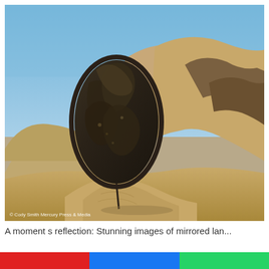[Figure (photo): A large oval mirror standing in a desert sandy landscape. The mirror reflects a dark rocky hillside, contrasting with the surrounding sandy dunes and rocky hills under a blue sky. Copyright watermark reads: © Cody Smith Mercury Press & Media]
A moment s reflection: Stunning images of mirrored lan...